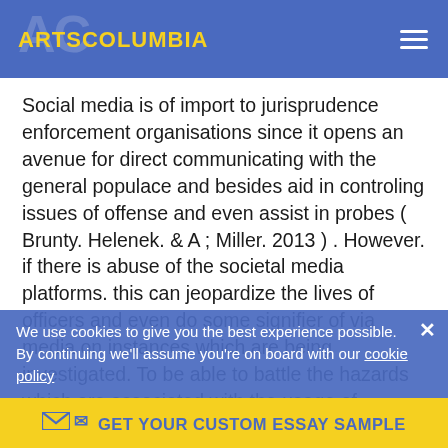ARTSCOLUMBIA
Social media is of import to jurisprudence enforcement organisations since it opens an avenue for direct communicating with the general populace and besides aid in controling issues of offense and even assist in probes ( Brunty. Helenek. & A ; Miller. 2013 ) . However. if there is abuse of the societal media platforms. this can jeopardize the lives of officers and even do some signifier of via media on instances which are being investigated. To be able to battle the hazards which are associated with the usage of societal media by jurisprudence enforcement officers. it is of import to understand the societal media ( Shintey. 8 A ; Bexiler. 2014 ) . Furthermore. it is of import to come to grips to the societal media which impacting the day-to-day lives and activities of the constabulary officers. the
We use cookies to give you the best experience possible. By continuing we'll assume you're on board with our cookie policy
GET YOUR CUSTOM ESSAY SAMPLE